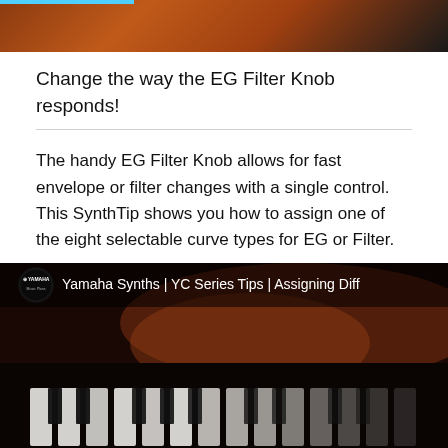[Figure (photo): Dark brown/orange photo of piano keys at the top of the page]
Change the way the EG Filter Knob responds!
The handy EG Filter Knob allows for fast envelope or filter changes with a single control. This SynthTip shows you how to assign one of the eight selectable curve types for EG or Filter.
[Figure (screenshot): YouTube video thumbnail showing Yamaha Synths | YC Series Tips | Assigning Diff... with piano keys in background]